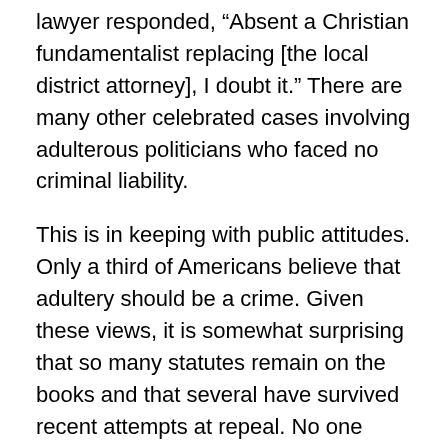lawyer responded, “Absent a Christian fundamentalist replacing [the local district attorney], I doubt it.” There are many other celebrated cases involving adulterous politicians who faced no criminal liability.
This is in keeping with public attitudes. Only a third of Americans believe that adultery should be a crime. Given these views, it is somewhat surprising that so many statutes remain on the books and that several have survived recent attempts at repeal. No one thinks the fight to preserve these statutes has much practical significance: the issue is symbolic. As Thurman W. Arnold observed three-quarters of a century ago, “Most unenforced criminal laws survive in order to satisfy moral objections to our established modes of conduct.